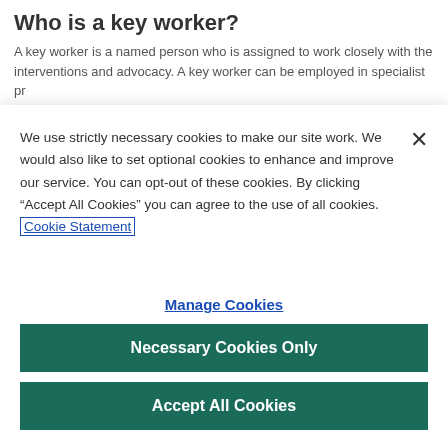Who is a key worker?
A key worker is a named person who is assigned to work closely with the interventions and advocacy. A key worker can be employed in specialist pr... Some people may have an existing key worker from a drug, homeless or m... their detox support from.
How do I find a key worker for my patient?
Firstly ask your patient if they attend any support services or if they have a
We use strictly necessary cookies to make our site work. We would also like to set optional cookies to enhance and improve our service. You can opt-out of these cookies. By clicking “Accept All Cookies” you can agree to the use of all cookies. Cookie Statement
Manage Cookies
Necessary Cookies Only
Accept All Cookies